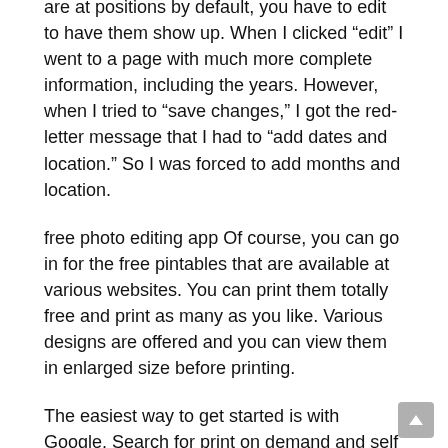are at positions by default, you have to edit to have them show up. When I clicked “edit” I went to a page with much more complete information, including the years. However, when I tried to “save changes,” I got the red-letter message that I had to “add dates and location.” So I was forced to add months and location.
free photo editing app Of course, you can go in for the free pintables that are available at various websites. You can print them totally free and print as many as you like. Various designs are offered and you can view them in enlarged size before printing.
The easiest way to get started is with Google. Search for print on demand and self publishing books and your will find hundreds of potential publishers. But don’t stop after reading just the first page on your search engine. Keep going for great deals further on. Take careful note of minimum quantities and how their system works.